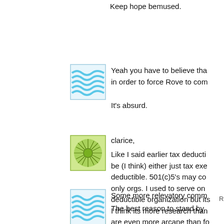Keep hope bemused.
[Figure (illustration): Blue wavy lines avatar icon]
Yeah you have to believe tha in order to force Rove to com
It's absurd.
[Figure (illustration): Green geometric starburst avatar icon]
clarice,
Like I said earlier tax deducti be (I think) either just tax exe deductible. 501(c)5's may co only orgs. I used to serve on deductible organization but its I think its more research than are even more arcane than fo
R
[Figure (illustration): Blue wavy lines avatar icon]
Some more relevatory comm
The best reason to stand by